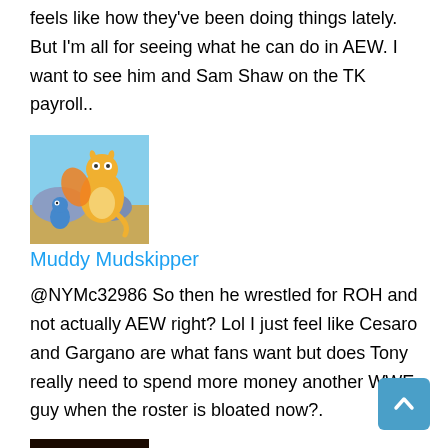feels like how they've been doing things lately. But I'm all for seeing what he can do in AEW. I want to see him and Sam Shaw on the TK payroll..
[Figure (photo): Avatar image showing a cartoon Dragonite-like Pokemon character in a desert landscape]
Muddy Mudskipper
@NYMc32986 So then he wrestled for ROH and not actually AEW right? Lol I just feel like Cesaro and Gargano are what fans want but does Tony really need to spend more money another WWE guy when the roster is bloated now?.
[Figure (photo): Avatar image showing a warrior character with wings and fire effects]
Woken
@ArenaWWE_Col @TurnHeelWres Eso contesta alguien que no tiene idea de wrestling , y pone a Cesaro y gargano que luchadores de elite al mismo nivel que el sobrevalorada de